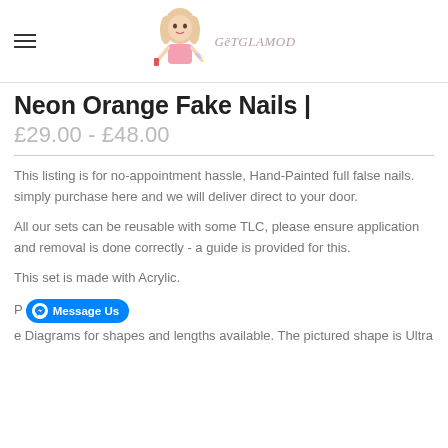GetGlamuod logo and navigation
Neon Orange Fake Nails |
£29.00 - £48.00
This listing is for no-appointment hassle, Hand-Painted full false nails. simply purchase here and we will deliver direct to your door.
All our sets can be reusable with some TLC, please ensure application and removal is done correctly - a guide is provided for this.
This set is made with Acrylic.
Please see Diagrams for shapes and lengths available. The pictured shape is Ultra